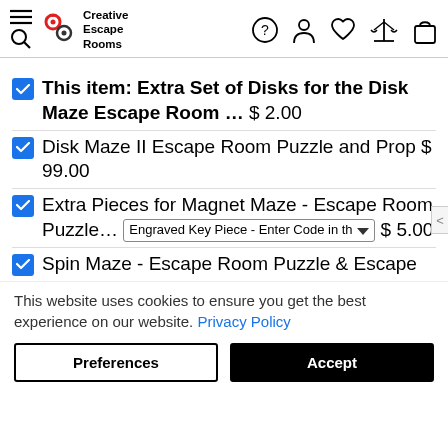Creative Escape Rooms - navigation header with logo and icons
This item: Extra Set of Disks for the Disk Maze Escape Room ... $2.00
Disk Maze II Escape Room Puzzle and Prop $99.00
Extra Pieces for Magnet Maze - Escape Room Puzzle... Engraved Key Piece - Enter Code in th [dropdown] $5.00
Spin Maze - Escape Room Puzzle & Escape
This website uses cookies to ensure you get the best experience on our website. Privacy Policy
Preferences | Accept